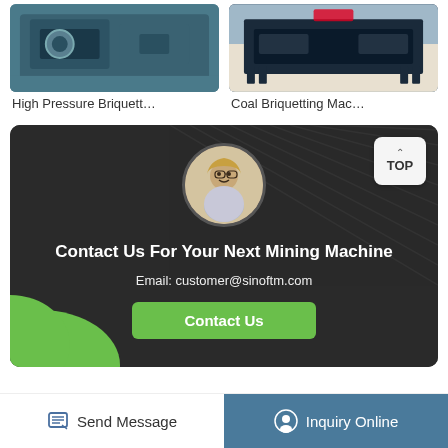[Figure (photo): High pressure briquetting machine - industrial equipment, teal/dark colored]
[Figure (photo): Coal briquetting machine - dark industrial table/frame equipment]
High Pressure Briquett…
Coal Briquetting Mac…
[Figure (infographic): Contact section with dark background, diagonal lines, woman avatar, contact information and button]
Contact Us For Your Next Mining Machine
Email: customer@sinoftm.com
Contact Us
Send Message
Inquiry Online